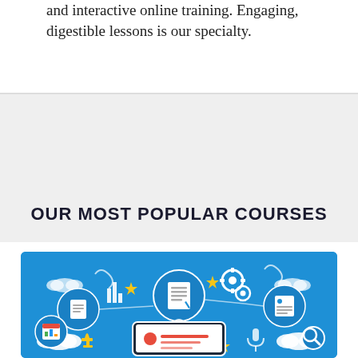and interactive online training. Engaging, digestible lessons is our specialty.
OUR MOST POPULAR COURSES
[Figure (illustration): Blue banner illustration showing online learning/e-learning concept with icons: document, gears, bar chart, monitor with cursor, lightbulb, clouds, stars, trophy, microphone, magnifying glass, and a tablet/screen displaying content with red circle and lines.]